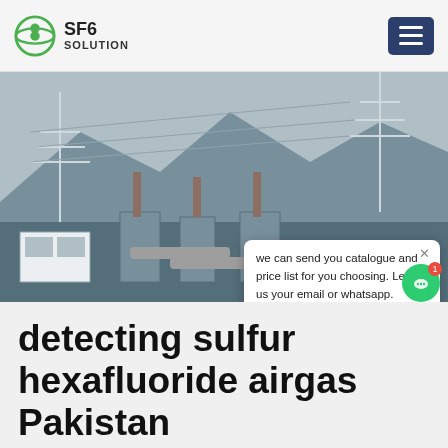SF6 SOLUTION
[Figure (photo): Electrical substation with high-voltage transformers, insulator bushings, pipes, and power transmission towers in a mountainous area. A chat popup overlay is visible in the foreground.]
detecting sulfur hexafluoride airgas Pakistan